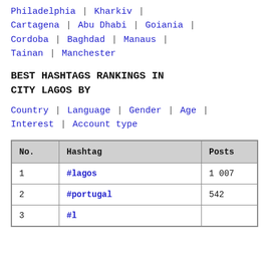Philadelphia | Kharkiv | Cartagena | Abu Dhabi | Goiania | Cordoba | Baghdad | Manaus | Tainan | Manchester
BEST HASHTAGS RANKINGS IN CITY LAGOS BY
Country | Language | Gender | Age | Interest | Account type
| No. | Hashtag | Posts |
| --- | --- | --- |
| 1 | #lagos | 1 007 |
| 2 | #portugal | 542 |
| 3 | #l... | ... |